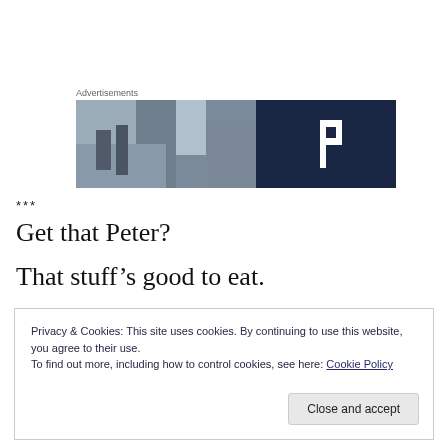Advertisements
[Figure (photo): Advertisement banner image showing a building/architecture photo on the left half and a dark navy blue background with a white letter P on the right half.]
***
Get that Peter?
That stuff’s good to eat.
Privacy & Cookies: This site uses cookies. By continuing to use this website, you agree to their use.
To find out more, including how to control cookies, see here: Cookie Policy

Close and accept